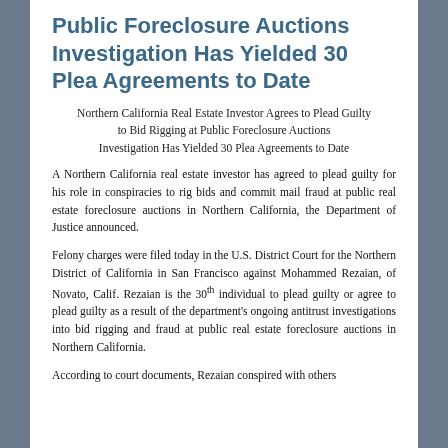Public Foreclosure Auctions Investigation Has Yielded 30 Plea Agreements to Date
Northern California Real Estate Investor Agrees to Plead Guilty to Bid Rigging at Public Foreclosure Auctions Investigation Has Yielded 30 Plea Agreements to Date
A Northern California real estate investor has agreed to plead guilty for his role in conspiracies to rig bids and commit mail fraud at public real estate foreclosure auctions in Northern California, the Department of Justice announced.
Felony charges were filed today in the U.S. District Court for the Northern District of California in San Francisco against Mohammed Rezaian, of Novato, Calif. Rezaian is the 30th individual to plead guilty or agree to plead guilty as a result of the department's ongoing antitrust investigations into bid rigging and fraud at public real estate foreclosure auctions in Northern California.
According to court documents, Rezaian conspired with others